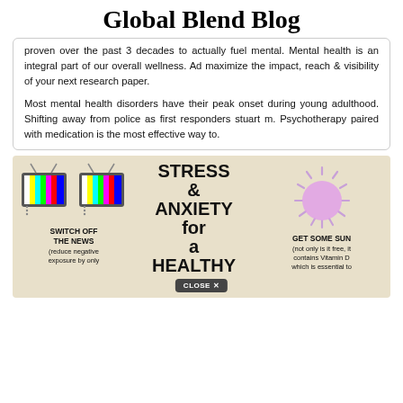Global Blend Blog
proven over the past 3 decades to actually fuel mental. Mental health is an integral part of our overall wellness. Ad maximize the impact, reach & visibility of your next research paper.

Most mental health disorders have their peak onset during young adulthood. Shifting away from police as first responders stuart m. Psychotherapy paired with medication is the most effective way to.
[Figure (infographic): Infographic on stress and anxiety for a healthy lifestyle. Shows: left section with two TV icons and text 'SWITCH OFF THE NEWS (reduce negative exposure by only...)', center section with bold text 'STRESS & ANXIETY for a HEALTHY...', right section with sun illustration and text 'GET SOME SUN (not only is it free, it contains Vitamin D which is essential to...']